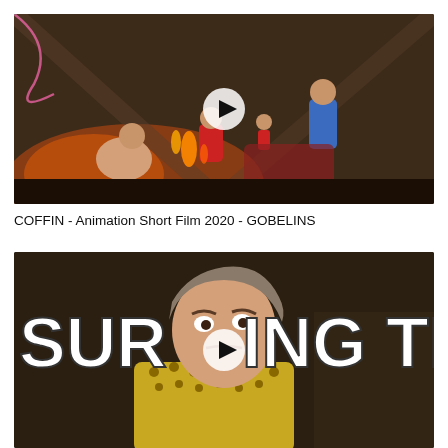[Figure (screenshot): Video thumbnail for 'COFFIN - Animation Short Film 2020 - GOBELINS'. Shows animated scene with children in a dimly lit tent-like interior with fire and warm tones. A play button overlay is centered on the image.]
COFFIN - Animation Short Film 2020 - GOBELINS
[Figure (screenshot): Video thumbnail showing a woman in a yellow studded jacket with bold white text reading 'SURV ING THE' (SURVIVING THE) overlaid. A play button is centered on the image.]